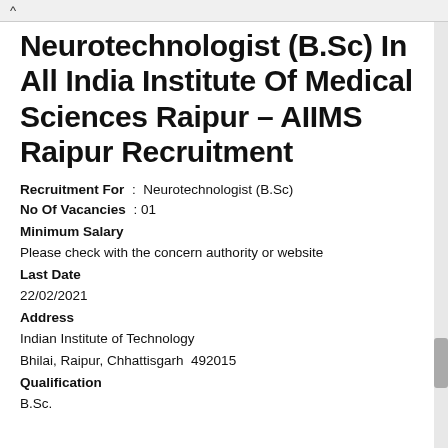Neurotechnologist (B.Sc) In All India Institute Of Medical Sciences Raipur – AIIMS Raipur Recruitment
Recruitment For : Neurotechnologist (B.Sc)
No Of Vacancies : 01
Minimum Salary
Please check with the concern authority or website
Last Date
22/02/2021
Address
Indian Institute of Technology
Bhilai, Raipur, Chhattisgarh  492015
Qualification
B.Sc.